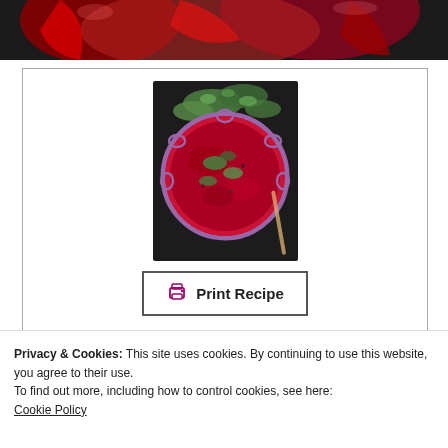[Figure (photo): Top portion of a photo showing red peppers/chilies on a dark background, cropped at the bottom]
[Figure (photo): A bowl of deep red chutney/sauce garnished with fresh cilantro/coriander leaves, served in a decorative bowl on a dark surface]
Print Recipe
[Figure (other): 4.5 out of 5 stars rating — five star icons, the fifth partially filled]
Privacy & Cookies: This site uses cookies. By continuing to use this website, you agree to their use.
To find out more, including how to control cookies, see here:
Cookie Policy
Close and accept
best bet with the light aromatics of Indian flat-out